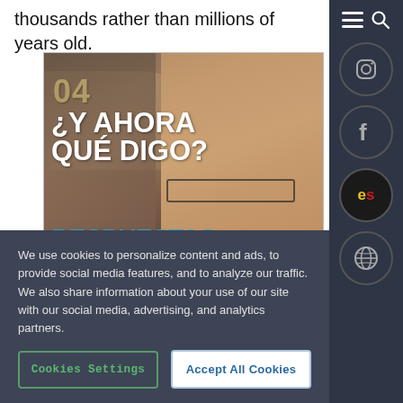thousands rather than millions of years old.
[Figure (photo): Book cover: '04 ¿Y Ahora Qué Digo? Respuestas Sobre Ciencia y Fe' with a man wearing glasses smiling against a rocky background]
We use cookies to personalize content and ads, to provide social media features, and to analyze our traffic. We also share information about your use of our site with our social media, advertising, and analytics partners.
Cookies Settings
Accept All Cookies